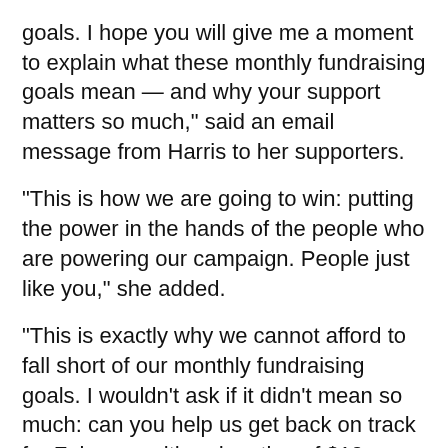goals. I hope you will give me a moment to explain what these monthly fundraising goals mean — and why your support matters so much," said an email message from Harris to her supporters.
“This is how we are going to win: putting the power in the hands of the people who are powering our campaign. People just like you,” she added.
“This is exactly why we cannot afford to fall short of our monthly fundraising goals. I wouldn’t ask if it didn’t mean so much: can you help us get back on track for February with a donation of $10 or more today?” she concluded.
Read the full report at the Washington Examiner.